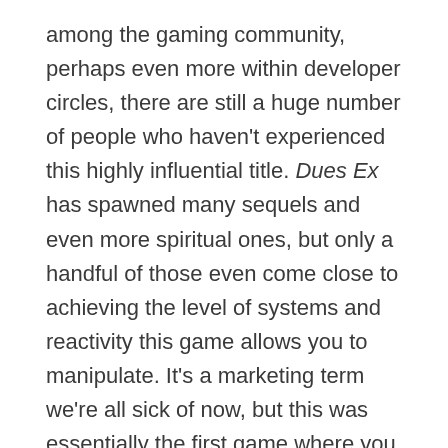among the gaming community, perhaps even more within developer circles, there are still a huge number of people who haven't experienced this highly influential title. Dues Ex has spawned many sequels and even more spiritual ones, but only a handful of those even come close to achieving the level of systems and reactivity this game allows you to manipulate. It's a marketing term we're all sick of now, but this was essentially the first game where you really could approach any situation however you wanted and the game would allow it. Want to be sneaky? Find a vent or stack some garbage to reach a high ledge. Want to smooth talk your way in? Give it a shot.
If you, like many of us, were burned by Cyberpunk 2077, Dues Ex is the dynamic, dystopian, conspiracy